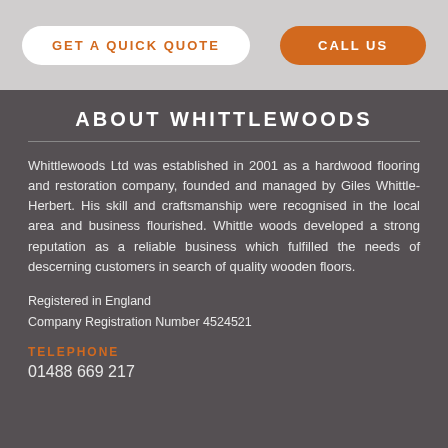[Figure (infographic): Two buttons side by side on a grey background: 'GET A QUICK QUOTE' (white with orange text) and 'CALL US' (orange with white text)]
ABOUT WHITTLEWOODS
Whittlewoods Ltd was established in 2001 as a hardwood flooring and restoration company, founded and managed by Giles Whittle-Herbert. His skill and craftsmanship were recognised in the local area and business flourished. Whittle woods developed a strong reputation as a reliable business which fulfilled the needs of descerning customers in search of quality wooden floors.
Registered in England
Company Registration Number 4524521
TELEPHONE
01488 669 217